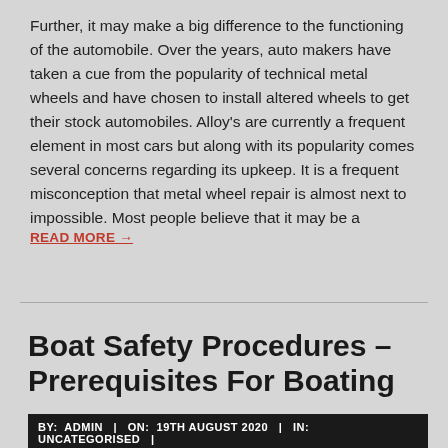Further, it may make a big difference to the functioning of the automobile. Over the years, auto makers have taken a cue from the popularity of technical metal wheels and have chosen to install altered wheels to get their stock automobiles. Alloy's are currently a frequent element in most cars but along with its popularity comes several concerns regarding its upkeep. It is a frequent misconception that metal wheel repair is almost next to impossible. Most people believe that it may be a
READ MORE →
Boat Safety Procedures – Prerequisites For Boating
BY: ADMIN | ON: 19TH AUGUST 2020 | IN: UNCATEGORISED |